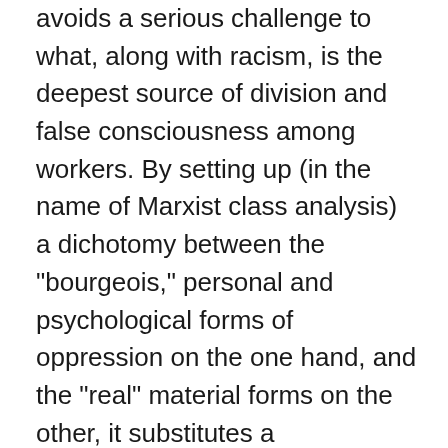avoids a serious challenge to what, along with racism, is the deepest source of division and false consciousness among workers. By setting up (in the name of Marxist class analysis) a dichotomy between the "bourgeois," personal and psychological forms of oppression on the one hand, and the "real" material forms on the other, it substitutes a mechanistic model of class relations for a more profound understanding of how these two aspects of oppression depend upon and reinforce each other. Finally, this anti-women's liberationist attitude makes it easier for us to bypass a confrontation of male chauvinism and the closely related values of elitism and